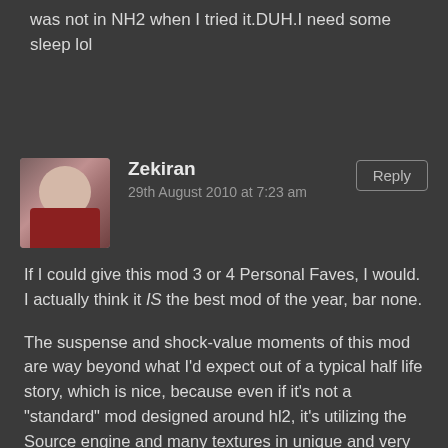was not in NH2 when I tried it.DUH.I need some sleep lol
[Figure (photo): Avatar photo of Zekiran, a woman with glasses smiling, wearing a red top]
Zekiran
29th August 2010 at 7:23 am
Reply
If I could give this mod 3 or 4 Personal Faves, I would. I actually think it IS the best mod of the year, bar none.
The suspense and shock-value moments of this mod are way beyond what I'd expect out of a typical half life story, which is nice, because even if it's not a "standard" mod designed around hl2, it's utilizing the Source engine and many textures in unique and very clever ways.